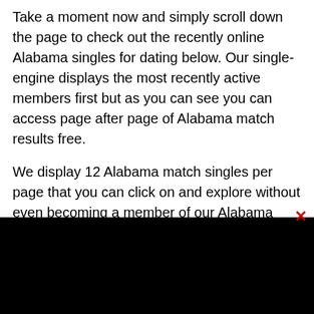Take a moment now and simply scroll down the page to check out the recently online Alabama singles for dating below. Our single-engine displays the most recently active members first but as you can see you can access page after page of Alabama match results free.
We display 12 Alabama match singles per page that you can click on and explore without even becoming a member of our Alabama dating site. We do so because we know we are one of the few legitimate places online where you can get Alabama dating for free and meet real local Alabama singles. Of course,
[Figure (other): Black bar covering the bottom portion of the page, representing a cookie/notification bar or overlay]